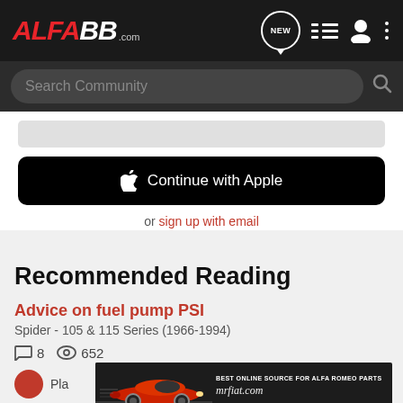ALFA BB .com — navigation header with search, new, list, user, and more icons
Search Community
[Figure (screenshot): Continue with Apple button — black rounded button with Apple logo and text 'Continue with Apple']
or sign up with email
Recommended Reading
Advice on fuel pump PSI
Spider - 105 & 115 Series (1966-1994)
8 replies  652 views
[Figure (photo): mrfiat.com advertisement banner showing a red Alfa Romeo Spider car with text 'BEST ONLINE SOURCE FOR ALFA ROMEO PARTS' and 'mrfiat.com']